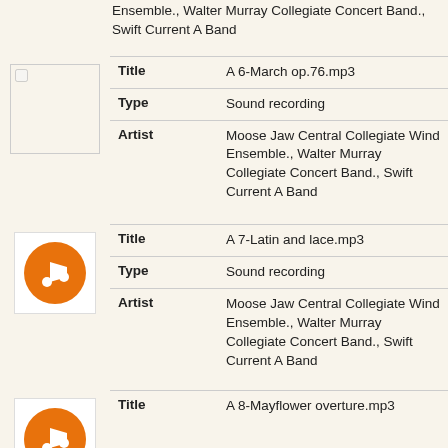Ensemble., Walter Murray Collegiate Concert Band., Swift Current A Band
| Field | Value |
| --- | --- |
| Title | A 6-March op.76.mp3 |
| Type | Sound recording |
| Artist | Moose Jaw Central Collegiate Wind Ensemble., Walter Murray Collegiate Concert Band., Swift Current A Band |
| Field | Value |
| --- | --- |
| Title | A 7-Latin and lace.mp3 |
| Type | Sound recording |
| Artist | Moose Jaw Central Collegiate Wind Ensemble., Walter Murray Collegiate Concert Band., Swift Current A Band |
| Field | Value |
| --- | --- |
| Title | A 8-Mayflower overture.mp3 |